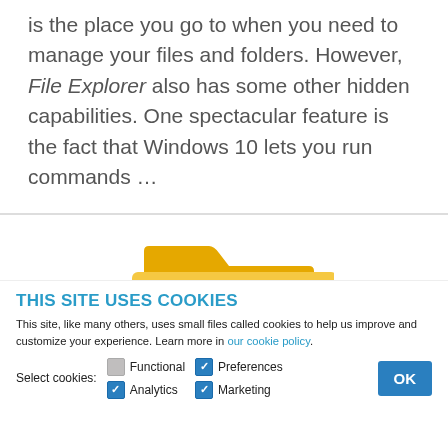is the place you go to when you need to manage your files and folders. However, File Explorer also has some other hidden capabilities. One spectacular feature is the fact that Windows 10 lets you run commands …
[Figure (illustration): Windows File Explorer icon — a yellow folder with a blue Windows logo/bridge shape overlaid at the bottom center]
THIS SITE USES COOKIES
This site, like many others, uses small files called cookies to help us improve and customize your experience. Learn more in our cookie policy.
Select cookies: Functional (unchecked), Preferences (checked), Analytics (checked), Marketing (checked)